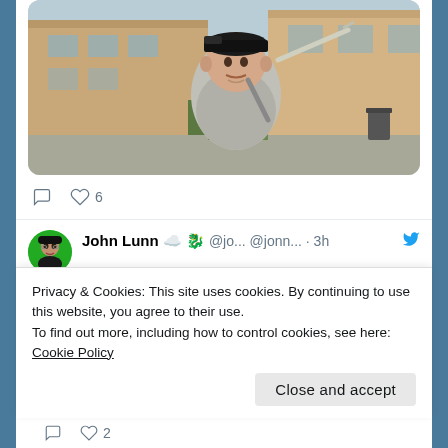[Figure (photo): A young man wearing a backwards cap and grey t-shirt, holding a hockey stick, standing outside a building]
💬  ♡ 6
John Lunn ☁️ 🐉 @jo... @jonn... · 3h
Easily create Dockerfiles, deployment files, and GitHub Actions through Visual Studio Code using the AKS DevX extension. #azure #news  azure.microsoft.com/en-gb/updates/...
Privacy & Cookies: This site uses cookies. By continuing to use this website, you agree to their use.
To find out more, including how to control cookies, see here: Cookie Policy
Close and accept
💬  ♡ 2